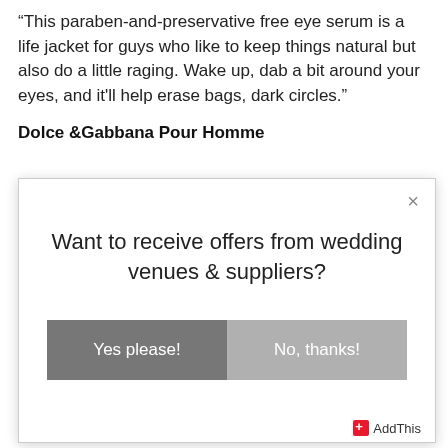“This paraben-and-preservative free eye serum is a life jacket for guys who like to keep things natural but also do a little raging. Wake up, dab a bit around your eyes, and it’ll help erase bags, dark circles.”
Dolce &Gabbana Pour Homme
Want to receive offers from wedding venues & suppliers?
Yes please!
No, thanks!
AddThis